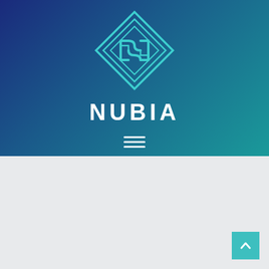[Figure (logo): Nubia brand logo: a teal geometric diamond/square rotated 45 degrees with an intricate maze-like 'N' pattern inside, rendered in teal/turquoise outlines on a blue-to-teal gradient background]
NUBIA
[Figure (other): Hamburger menu icon — three horizontal white lines centered below the brand name on the gradient background]
[Figure (other): Scroll-to-top button: teal square with white upward chevron arrow, positioned bottom-right of the light grey lower section]